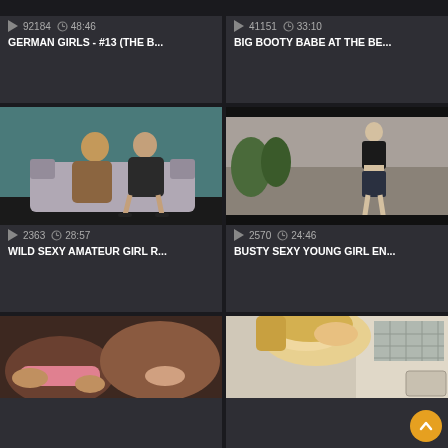[Figure (screenshot): Video thumbnail grid - top left card showing view count 92184 and duration 48:46, title GERMAN GIRLS - #13 (THE B...]
92184   48:46
GERMAN GIRLS - #13 (THE B...
[Figure (screenshot): Video thumbnail grid - top right card showing view count 41151 and duration 33:10, title BIG BOOTY BABE AT THE BE...]
41151   33:10
BIG BOOTY BABE AT THE BE...
[Figure (photo): Video thumbnail showing man and woman on couch in room with teal wall]
2363   28:57
WILD SEXY AMATEUR GIRL R...
[Figure (photo): Video thumbnail showing woman in black outfit walking on outdoor street]
2570   24:46
BUSTY SEXY YOUNG GIRL EN...
[Figure (photo): Video thumbnail bottom left - close up scene]
[Figure (photo): Video thumbnail bottom right - blonde woman in kitchen scene with scroll-to-top button overlay]